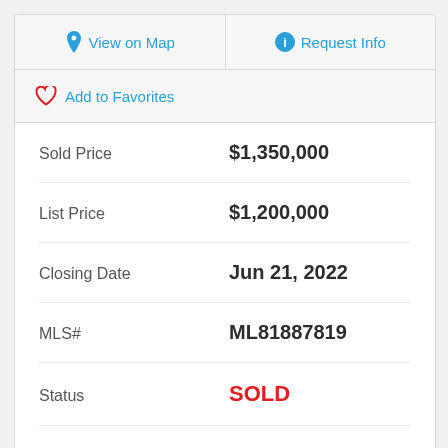View on Map
Request Info
Add to Favorites
| Field | Value |
| --- | --- |
| Sold Price | $1,350,000 |
| List Price | $1,200,000 |
| Closing Date | Jun 21, 2022 |
| MLS# | ML81887819 |
| Status | SOLD |
| Bedrooms | 3 |
| Total Bathrooms | 2 |